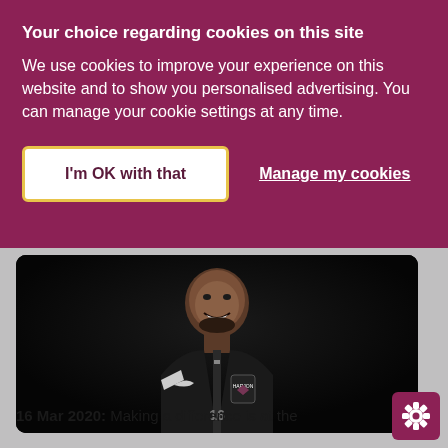Your choice regarding cookies on this site
We use cookies to improve your experience on this website and to show you personalised advertising. You can manage your cookie settings at any time.
I'm OK with that
Manage my cookies
[Figure (photo): Portrait photo of a young man smiling, wearing a black Nike sports jacket with a club badge, against a dark background.]
16 Mar 2020: Making a difference is at the